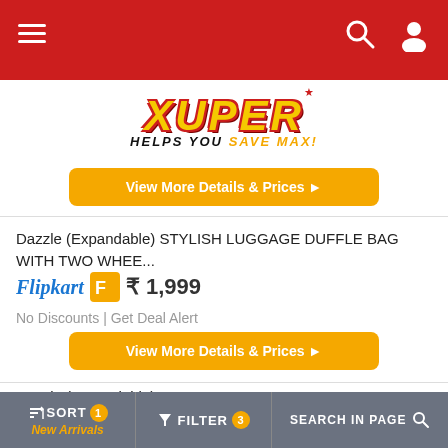[Figure (logo): Xuper app header with red background, hamburger menu, XUPER logo with tagline 'HELPS YOU SAVE MAX!', search and user icons]
[Figure (screenshot): Orange 'View More Details & Prices' button]
Dazzle (Expandable) STYLISH LUGGAGE DUFFLE BAG WITH TWO WHEE...
Flipkart ₹ 1,999
No Discounts | Get Deal Alert
[Figure (screenshot): Orange 'View More Details & Prices' button]
Dazzle (Expandable) STYLISH LUGGAGE DUFFLE BAG WITH TWO WHEE...
Flipkart ₹ 1,999
SORT New Arrivals | FILTER 3 | SEARCH IN PAGE